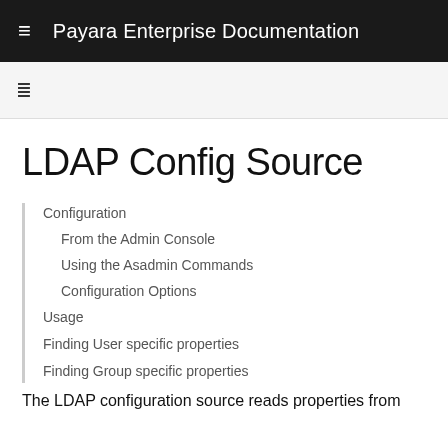Payara Enterprise Documentation
LDAP Config Source
Configuration
From the Admin Console
Using the Asadmin Commands
Configuration Options
Usage
Finding User specific properties
Finding Group specific properties
The LDAP configuration source reads properties from